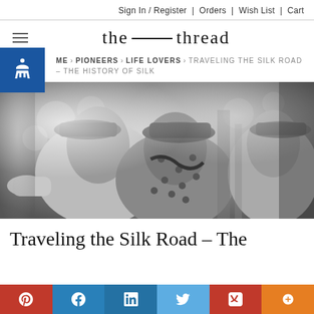Sign In / Register | Orders | Wish List | Cart
the ——— thread
ME > PIONEERS > LIFE LOVERS > TRAVELING THE SILK ROAD – THE HISTORY OF SILK
[Figure (photo): Black and white photo of women in vintage fashion, wearing hats and polka dot clothing, posed in what appears to be a social gathering or event setting.]
Traveling the Silk Road – The
[Figure (infographic): Social sharing bar with Pinterest, Facebook, LinkedIn, Twitter, Pocket, and More buttons in red, blue, teal, and orange colors.]